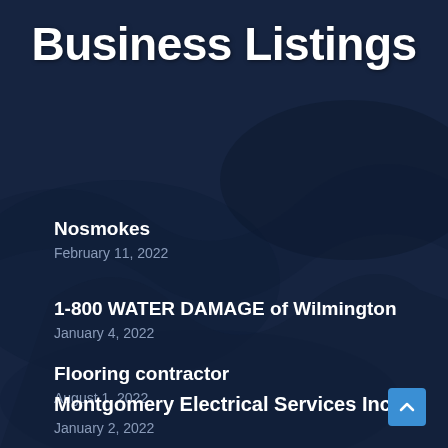Business Listings
Nosmokes
February 11, 2022
1-800 WATER DAMAGE of Wilmington
January 4, 2022
Flooring contractor
August 1, 2022
Montgomery Electrical Services Inc
January 2, 2022